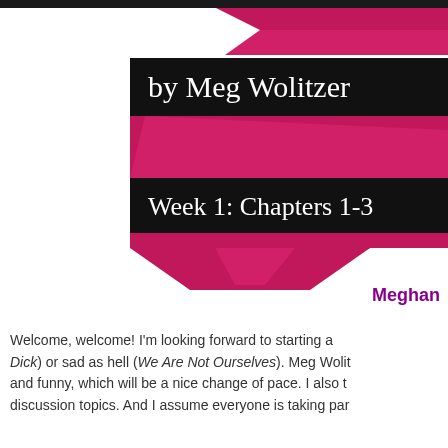[Figure (illustration): Decorative banner with pink/magenta diagonal chevron ribbons and two black horizontal bars showing 'by Meg Wolitzer' and 'Week 1: Chapters 1-3' in white serif text.]
Meghan
Welcome, welcome! I'm looking forward to starting a... Dick) or sad as hell (We Are Not Ourselves). Meg Wolit... and funny, which will be a nice change of pace. I also t... discussion topics. And I assume everyone is taking par...